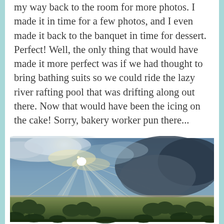my way back to the room for more photos. I made it in time for a few photos, and I even made it back to the banquet in time for dessert.  Perfect!  Well, the only thing that would have made it more perfect was if we had thought to bring bathing suits so we could ride the lazy river rafting pool that was drifting along out there.  Now that would have been the icing on the cake!  Sorry, bakery worker pun there...
[Figure (photo): Dramatic sky scene with sun rays breaking through clouds over a flat green landscape with trees and a lake or water feature visible in the distance.]